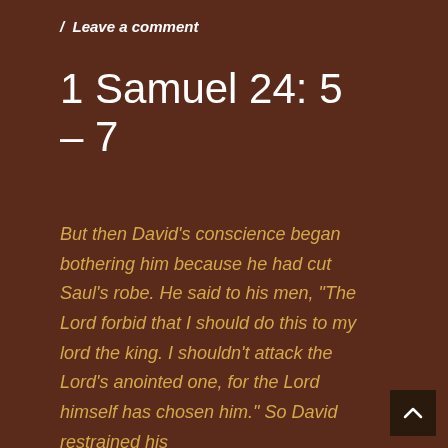/ Leave a comment
1 Samuel 24: 5 – 7
But then David's conscience began bothering him because he had cut Saul's robe. He said to his men, “The Lord forbid that I should do this to my lord the king. I shouldn’t attack the Lord’s anointed one, for the Lord himself has chosen him.” So David restrained his